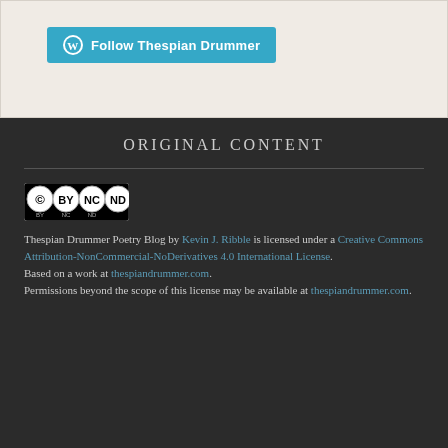[Figure (other): WordPress Follow button with blue background reading 'Follow Thespian Drummer']
ORIGINAL CONTENT
[Figure (logo): Creative Commons BY-NC-ND license badge icons]
Thespian Drummer Poetry Blog by Kevin J. Ribble is licensed under a Creative Commons Attribution-NonCommercial-NoDerivatives 4.0 International License. Based on a work at thespiandrummer.com. Permissions beyond the scope of this license may be available at thespiandrummer.com.